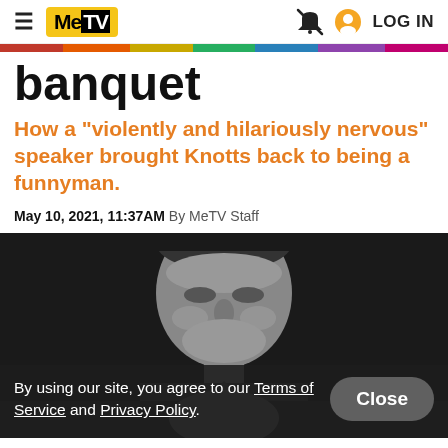MeTV — LOG IN
banquet
How a "violently and hilariously nervous" speaker brought Knotts back to being a funnyman.
May 10, 2021, 11:37AM By MeTV Staff
[Figure (photo): Black and white photo of a man's face, partially obscured by a cookie consent overlay.]
By using our site, you agree to our Terms of Service and Privacy Policy.